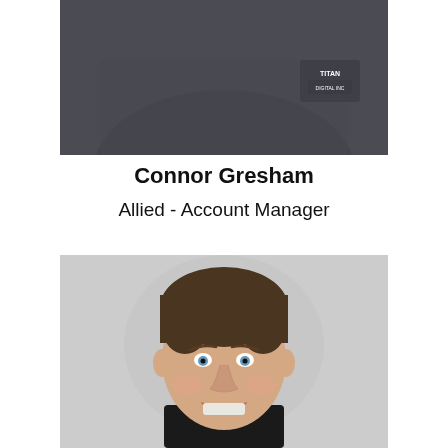[Figure (photo): Partial torso photo of person wearing dark grey crew neck shirt with a Titans logo on the chest, photo is cropped at the neck]
Connor Gresham
Allied - Account Manager
[Figure (photo): Headshot photo of a smiling young man with short brown hair and blue eyes wearing a black shirt, light grey background]